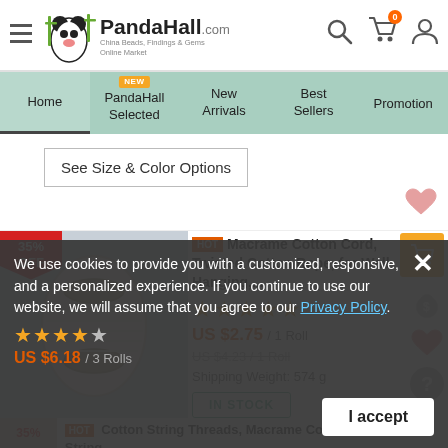[Figure (screenshot): PandaHall.com e-commerce website header with logo, hamburger menu, search, cart (0), and user icons]
[Figure (infographic): Navigation bar with Home, PandaHall Selected (NEW badge), New Arrivals, Best Sellers, Promotion tabs]
See Size & Color Options
[Figure (photo): 35% OFF badge on product image of white macrame cotton cord spool]
HOT Macrame Cotton Cord, Twisted Cotton Rope, for Wall Hanging,...
5 stars rating
US $2.75 / 1 Roll
US $4.23 / 1 Roll (original price, strikethrough)
Shipping Weight: 574 g
IN STOCK
We use cookies to provide you with a customized, responsive, and a personalized experience. If you continue to use our website, we will assume that you agree to our Privacy Policy.
I accept
HOT Cotton String Threads, Macrame Cord, Decorative String...
US $6.18 / 3 Rolls